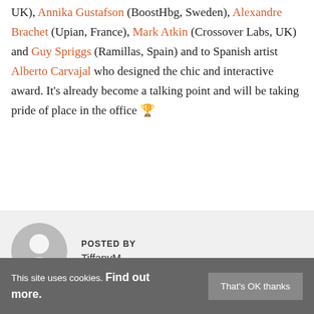UK), Annika Gustafson (BoostHbg, Sweden), Alexandre Brachet (Upian, France), Mark Atkin (Crossover Labs, UK) and Guy Spriggs (Ramillas, Spain) and to Spanish artist Alberto Carvajal who designed the chic and interactive award. It's already become a talking point and will be taking pride of place in the office 🏆
POSTED BY TiffanyM
This site uses cookies. Find out more. That's OK thanks